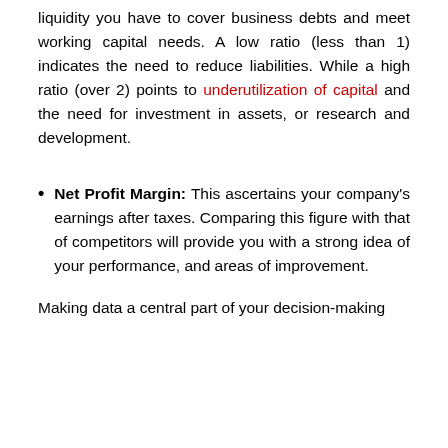liquidity you have to cover business debts and meet working capital needs. A low ratio (less than 1) indicates the need to reduce liabilities. While a high ratio (over 2) points to underutilization of capital and the need for investment in assets, or research and development.
Net Profit Margin: This ascertains your company's earnings after taxes. Comparing this figure with that of competitors will provide you with a strong idea of your performance, and areas of improvement.
Making data a central part of your decision-making